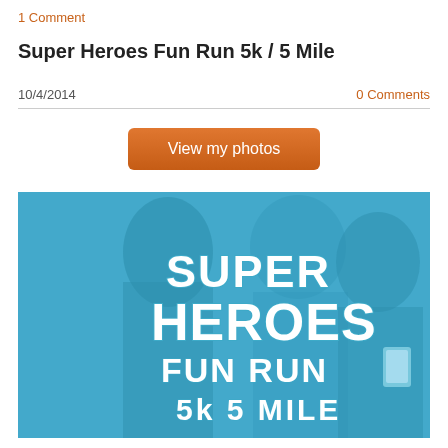1 Comment
Super Heroes Fun Run 5k / 5 Mile
10/4/2014
0 Comments
View my photos
[Figure (photo): Blue-tinted photo of three smiling women runners with large white hand-lettered text reading SUPER HEROES FUN RUN 5k 5 MILE overlaid on the image.]